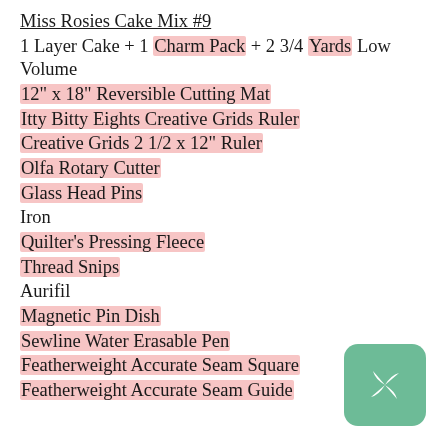Miss Rosies Cake Mix #9
1 Layer Cake + 1 Charm Pack + 2 3/4 Yards Low Volume
12" x 18" Reversible Cutting Mat
Itty Bitty Eights Creative Grids Ruler
Creative Grids 2 1/2 x 12" Ruler
Olfa Rotary Cutter
Glass Head Pins
Iron
Quilter's Pressing Fleece
Thread Snips
Aurifil
Magnetic Pin Dish
Sewline Water Erasable Pen
Featherweight Accurate Seam Square
Featherweight Accurate Seam Guide
[Figure (logo): Green rounded square with a white quilt star/pinwheel icon]